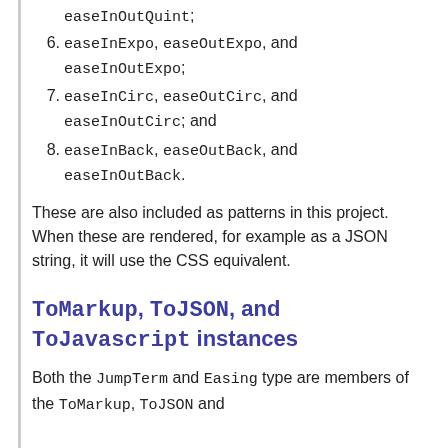easeInOutQuint;
6. easeInExpo, easeOutExpo, and easeInOutExpo;
7. easeInCirc, easeOutCirc, and easeInOutCirc; and
8. easeInBack, easeOutBack, and easeInOutBack.
These are also included as patterns in this project. When these are rendered, for example as a JSON string, it will use the CSS equivalent.
ToMarkup, ToJSON, and ToJavascript instances
Both the JumpTerm and Easing type are members of the ToMarkup, ToJSON and